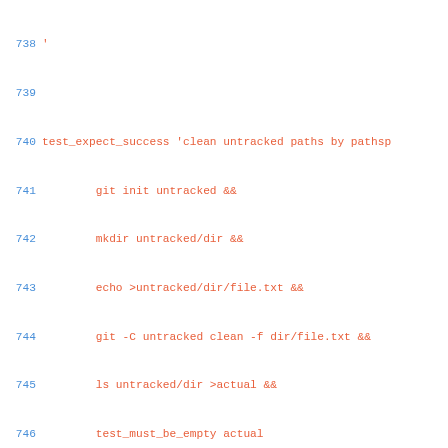Source code listing lines 738-767 showing shell test script with test_expect_success and test_expect_failure blocks for git clean functionality testing.